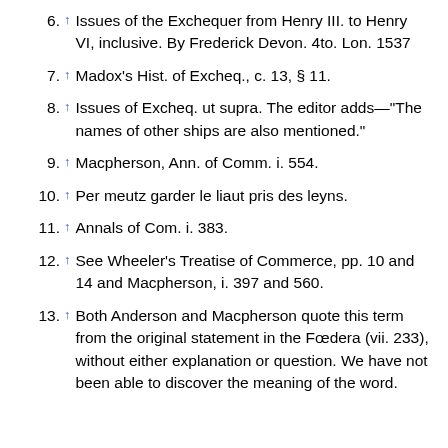6. ↑ Issues of the Exchequer from Henry III. to Henry VI, inclusive. By Frederick Devon. 4to. Lon. 1537
7. ↑ Madox's Hist. of Excheq., c. 13, § 11.
8. ↑ Issues of Excheq. ut supra. The editor adds—"The names of other ships are also mentioned."
9. ↑ Macpherson, Ann. of Comm. i. 554.
10. ↑ Per meutz garder le liaut pris des leyns.
11. ↑ Annals of Com. i. 383.
12. ↑ See Wheeler's Treatise of Commerce, pp. 10 and 14 and Macpherson, i. 397 and 560.
13. ↑ Both Anderson and Macpherson quote this term from the original statement in the Fœdera (vii. 233), without either explanation or question. We have not been able to discover the meaning of the word.